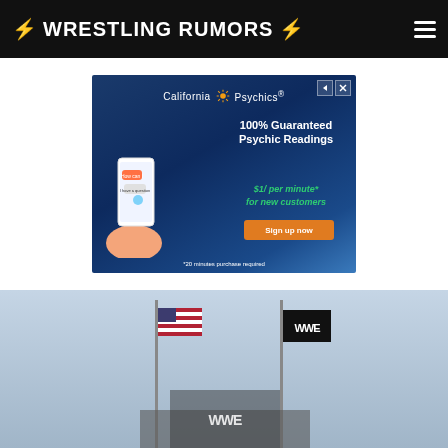WRESTLING RUMORS
[Figure (screenshot): California Psychics advertisement banner. Dark blue background with logo, text '100% Guaranteed Psychic Readings', '$1/ per minute* for new customers', orange 'Sign up now' button, '*20 minutes purchase required', and an illustrated hand holding a smartphone.]
[Figure (photo): Outdoor photo showing flags flying on poles against a grey-blue sky. An American flag is visible on the left, and a WWE logo flag is visible on the right.]